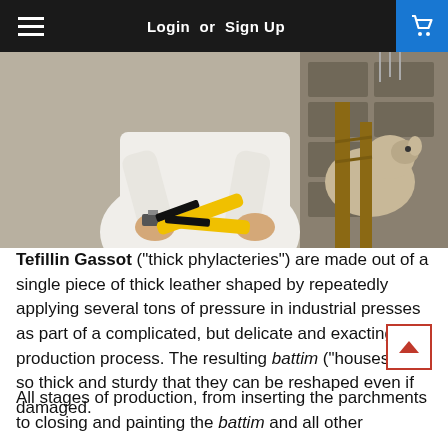Login or Sign Up
[Figure (photo): A person in a white coat holding yellow-handled pliers/tools working on Tefillin, with what appears to be a goat or animal in a wooden stall in the background.]
Tefillin Gassot ("thick phylacteries") are made out of a single piece of thick leather shaped by repeatedly applying several tons of pressure in industrial presses as part of a complicated, but delicate and exacting production process. The resulting battim ("houses") are so thick and sturdy that they can be reshaped even if damaged.
All stages of production, from inserting the parchments to closing and painting the battim and all other